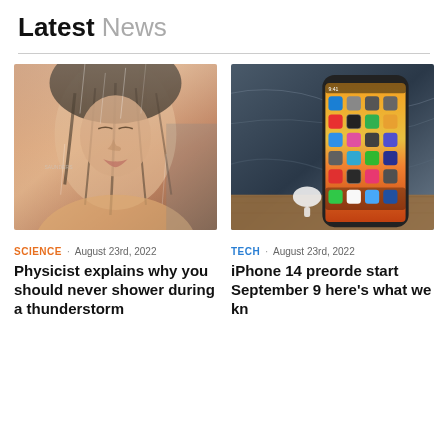Latest News
[Figure (photo): Woman showering with eyes closed, water running over her hair and face]
SCIENCE · August 23rd, 2022
Physicist explains why you should never shower during a thunderstorm
[Figure (photo): iPhone 14 displayed on a marble surface with colorful app icons on screen]
TECH · August 23rd, 2022
iPhone 14 preorde start September 9 here's what we kn